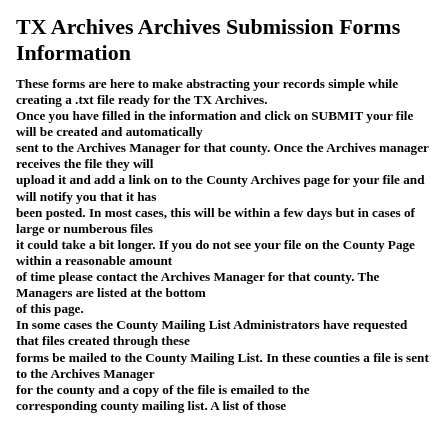TX Archives Archives Submission Forms Information
These forms are here to make abstracting your records simple while creating a .txt file ready for the TX Archives. Once you have filled in the information and click on SUBMIT your file will be created and automatically sent to the Archives Manager for that county. Once the Archives manager receives the file they will upload it and add a link on to the County Archives page for your file and will notify you that it has been posted. In most cases, this will be within a few days but in cases of large or numberous files it could take a bit longer. If you do not see your file on the County Page within a reasonable amount of time please contact the Archives Manager for that county. The Managers are listed at the bottom of this page. In some cases the County Mailing List Administrators have requested that files created through these forms be mailed to the County Mailing List. In these counties a file is sent to the Archives Manager for the county and a copy of the file is emailed to the corresponding county mailing list. A list of those